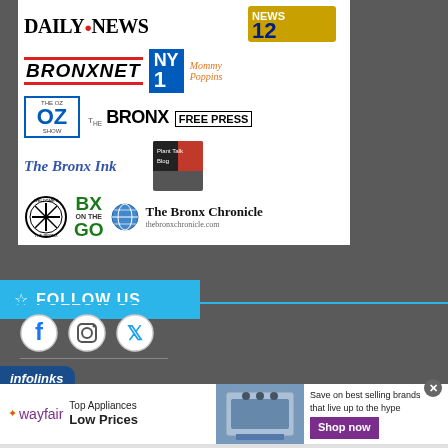[Figure (logo): Media logos panel including Daily News, News 12, BronxNet, NY1, Mommy Poppins, The OZ Show, The Bronx Free Press, The Bronx Ink, Plant Talk Blog, Welcome to the Bronx, BX on the GO, The Bronx Chronicle]
FOLLOW US
[Figure (illustration): Social media icons: Facebook, Instagram, Twitter]
[Figure (logo): infolinks banner]
[Figure (infographic): Wayfair advertisement: Top Appliances Low Prices, Save on best selling brands that live up to the hype, Shop now button]